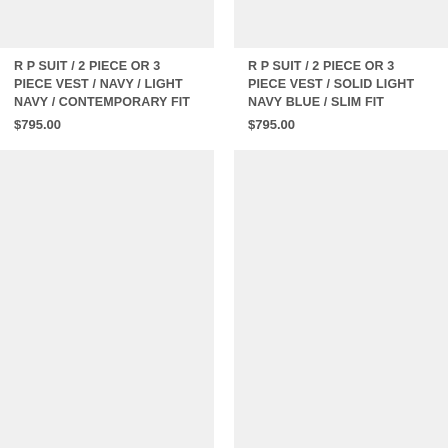[Figure (photo): Product image placeholder - light gray rectangle for suit (top left)]
R P SUIT / 2 PIECE OR 3 PIECE VEST / NAVY / LIGHT NAVY / CONTEMPORARY FIT
$795.00
[Figure (photo): Product image placeholder - light gray rectangle for suit (top right)]
R P SUIT / 2 PIECE OR 3 PIECE VEST / SOLID LIGHT NAVY BLUE / SLIM FIT
$795.00
[Figure (photo): Product image placeholder - light gray rectangle (bottom left)]
[Figure (photo): Product image placeholder - light gray rectangle (bottom right)]